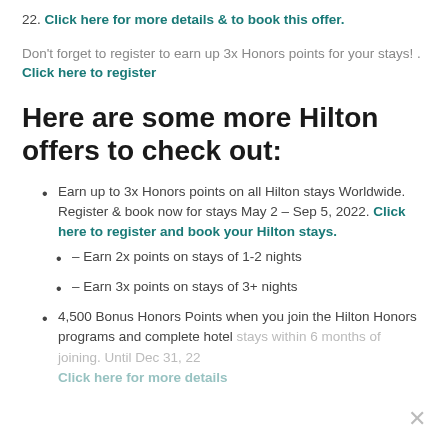22. Click here for more details & to book this offer.
Don't forget to register to earn up 3x Honors points for your stays! . Click here to register
Here are some more Hilton offers to check out:
Earn up to 3x Honors points on all Hilton stays Worldwide. Register & book now for stays May 2 – Sep 5, 2022. Click here to register and book your Hilton stays. – Earn 2x points on stays of 1-2 nights – Earn 3x points on stays of 3+ nights
4,500 Bonus Honors Points when you join the Hilton Honors programs and complete hotel stays within 6 months of joining. Until Dec 31, 22 Click here for more details